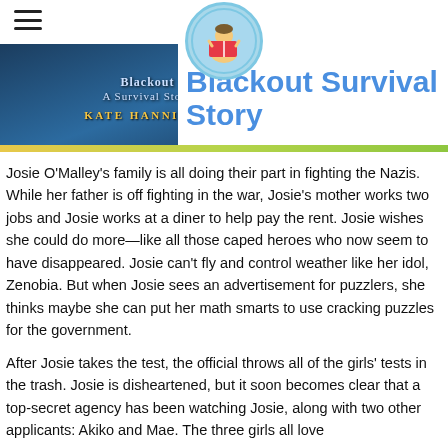Blackout: A Survival Story
[Figure (illustration): Book cover for 'Blackout: A Survival Story' by Kate Hannigan overlapping with a circular logo of a child reading a book and site header]
Josie O'Malley's family is all doing their part in fighting the Nazis. While her father is off fighting in the war, Josie's mother works two jobs and Josie works at a diner to help pay the rent. Josie wishes she could do more—like all those caped heroes who now seem to have disappeared. Josie can't fly and control weather like her idol, Zenobia. But when Josie sees an advertisement for puzzlers, she thinks maybe she can put her math smarts to use cracking puzzles for the government.
After Josie takes the test, the official throws all of the girls' tests in the trash. Josie is disheartened, but it soon becomes clear that a top-secret agency has been watching Josie, along with two other applicants: Akiko and Mae. The three girls all love heroes like Fantasy, Zenobia and the Black Cat. Th